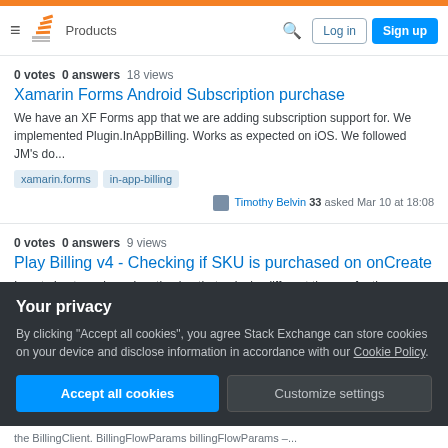Stack Overflow navigation bar with Products, Search, Log in, Sign up
0 votes  0 answers  18 views
Xamarin Forms Android Subscription purchase
We have an XF Forms app that we are adding subscription support for. We implemented Plugin.InAppBilling. Works as expected on iOS. We followed JM's do...
xamarin.forms
in-app-billing
Timothy Belvin 33 asked Mar 10 at 18:08
0 votes  0 answers  9 views
Play Billing v4 - Checking if SKU is purchased on onCreate
I am trying to make a donation iap that unlocks different themes for the app. Because of that, I am trying to query if the donation SKU is purchased before setting the...
Your privacy
By clicking "Accept all cookies", you agree Stack Exchange can store cookies on your device and disclose information in accordance with our Cookie Policy.
Accept all cookies
Customize settings
the BillingClient. BillingFlowParams billingFlowParams –...